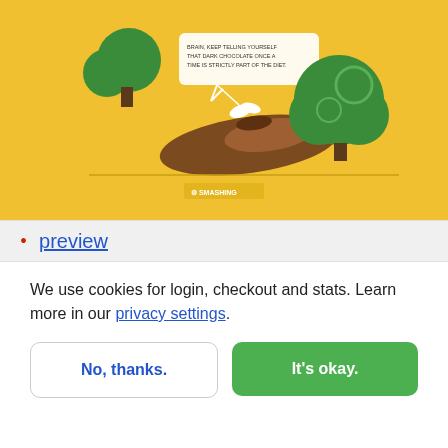[Figure (illustration): Cartoon illustration on a golden/yellow background showing a broccoli character scolding a chocolate eclair/banana-shaped dessert. Speech bubble text: 'BRAIN, KEEP TELLING YOURSELF THAT DARK CHOCOLATE ONCE A TIME IS STRICTLY PART OF THE DIET.' Two green broccoli shapes flank the brown dessert. Small white bird/butterfly shape visible. Smashing logo at bottom center.]
preview
We use cookies for login, checkout and stats. Learn more in our privacy settings.